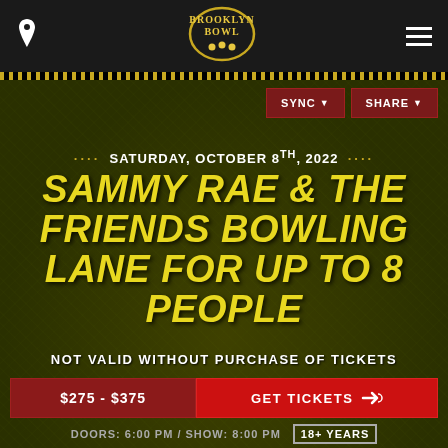Brooklyn Bowl
SYNC ▼   SHARE ▼
SATURDAY, OCTOBER 8TH, 2022
SAMMY RAE & THE FRIENDS BOWLING LANE FOR UP TO 8 PEOPLE
NOT VALID WITHOUT PURCHASE OF TICKETS
$275 - $375   GET TICKETS
DOORS: 6:00 PM / SHOW: 8:00 PM   18+ YEARS